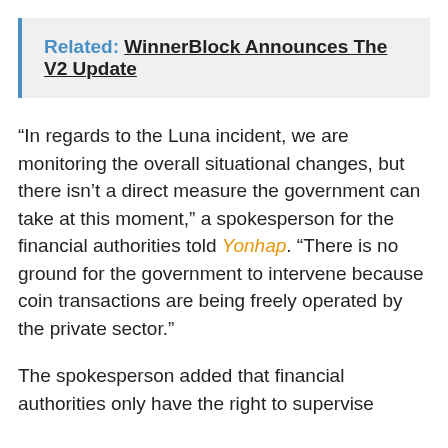Related: WinnerBlock Announces The V2 Update
“In regards to the Luna incident, we are monitoring the overall situational changes, but there isn’t a direct measure the government can take at this moment,” a spokesperson for the financial authorities told Yonhap. “There is no ground for the government to intervene because coin transactions are being freely operated by the private sector.”
The spokesperson added that financial authorities only have the right to supervise